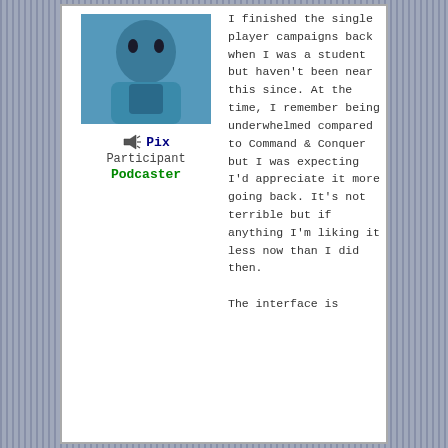[Figure (photo): Avatar photo of a blue-colored plush or cartoon figure, upper body visible]
🔊 Pix
Participant
Podcaster
I finished the single player campaigns back when I was a student but haven't been near this since. At the time, I remember being underwhelmed compared to Command & Conquer but I was expecting I'd appreciate it more going back. It's not terrible but if anything I'm liking it less now than I did then.

The interface is